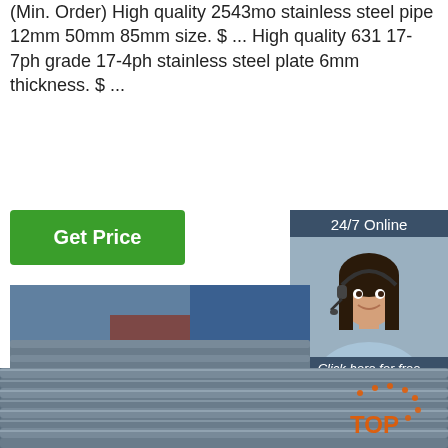(Min. Order) High quality 2543mo stainless steel pipe 12mm 50mm 85mm size. $ ... High quality 631 17-7ph grade 17-4ph stainless steel plate 6mm thickness. $ ...
[Figure (other): Green 'Get Price' button]
[Figure (other): 24/7 Online chat widget with woman wearing headset, 'Click here for free chat!' text and orange QUOTATION button]
[Figure (photo): Stack of steel pipes/rods in an outdoor industrial yard]
[Figure (photo): Close-up of stacked cylindrical steel rods/pipes with orange TOP logo watermark]